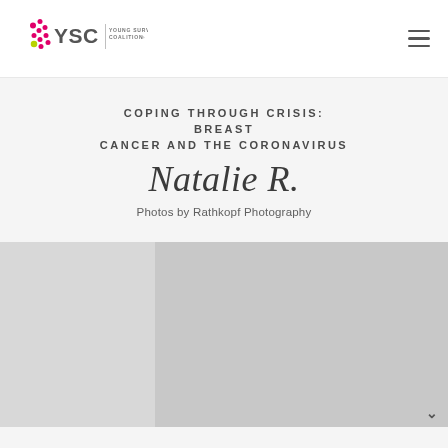[Figure (logo): Young Survival Coalition (YSC) logo with pink ribbon and dots, YSC text and full name]
COPING THROUGH CRISIS: BREAST CANCER AND THE CORONAVIRUS Natalie R.
Photos by Rathkopf Photography
[Figure (photo): Two side-by-side photos partially visible at the bottom of the page]